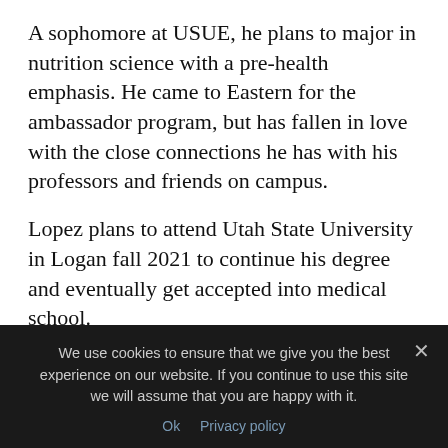A sophomore at USUE, he plans to major in nutrition science with a pre-health emphasis. He came to Eastern for the ambassador program, but has fallen in love with the close connections he has with his professors and friends on campus.
Lopez plans to attend Utah State University in Logan fall 2021 to continue his degree and eventually get accepted into medical school.
He hopes to finish his bachelor's degree and four years of medical school to become a family medicine physician for low-income
We use cookies to ensure that we give you the best experience on our website. If you continue to use this site we will assume that you are happy with it.
Ok   Privacy policy